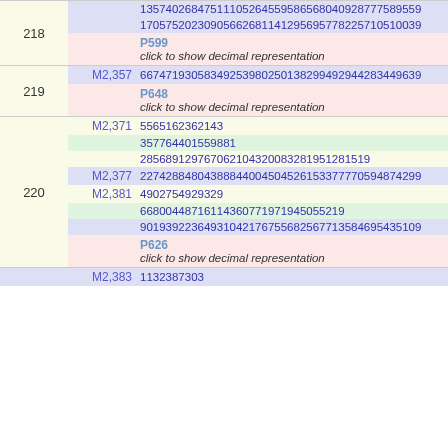| # | Factor | Value |
| --- | --- | --- |
| 218 |  | 13574026847511105264559586568040928777589559... |
| 218 |  | 17057520230905662681141295695778225710510039... |
| 218 |  | P599 / click to show decimal representation |
| 219 | M2,357 | 66747193058349253980250138299492944283449639... |
| 219 |  | P648 / click to show decimal representation |
| 220 | M2,371 | 5565162362143 |
| 220 | M2,371 | 357764401559881 |
| 220 | M2,371 | 285689129767062104320083281951281519... |
| 220 | M2,377 | 22742884804388844004504526153377770594874299... |
| 220 | M2,381 | 4902754929329 |
| 220 | M2,381 | 66800448716114360771971945055219... |
| 220 | M2,381 | 90193922364931042176755682567713584695435109... |
| 220 | M2,381 | P626 / click to show decimal representation |
| 221 | M2,383 | 1132387303 |